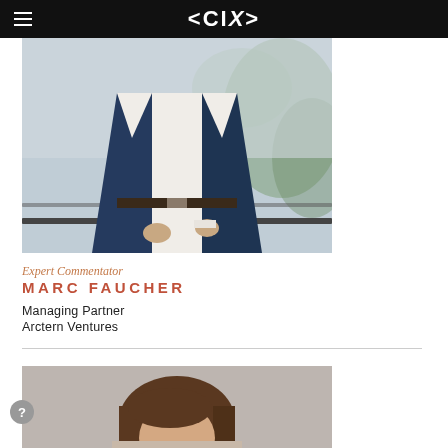<CIX>
[Figure (photo): Photo of Marc Faucher, a man in a navy blue blazer and white shirt standing on a balcony]
Expert Commentator
MARC FAUCHER
Managing Partner
Arctern Ventures
[Figure (photo): Photo of a woman with brown hair, partial view from the top]